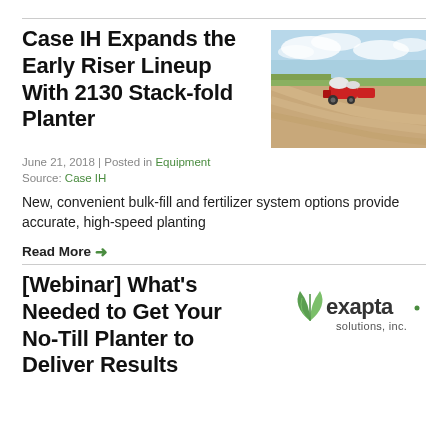Case IH Expands the Early Riser Lineup With 2130 Stack-fold Planter
[Figure (photo): Aerial view of a red Case IH planter working in a large agricultural field with curved tractor tracks visible]
June 21, 2018 | Posted in Equipment
Source: Case IH
New, convenient bulk-fill and fertilizer system options provide accurate, high-speed planting
Read More →
[Webinar] What's Needed to Get Your No-Till Planter to Deliver Results
[Figure (logo): Exapta Solutions, Inc. logo with green leaf icon and stylized text]